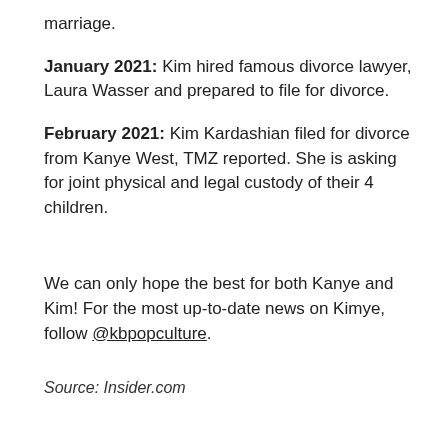marriage.
January 2021: Kim hired famous divorce lawyer, Laura Wasser and prepared to file for divorce.
February 2021: Kim Kardashian filed for divorce from Kanye West, TMZ reported. She is asking for joint physical and legal custody of their 4 children.
We can only hope the best for both Kanye and Kim! For the most up-to-date news on Kimye, follow @kbpopculture.
Source: Insider.com